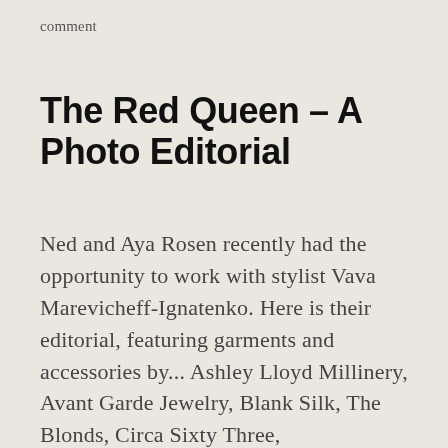comment
The Red Queen – A Photo Editorial
Ned and Aya Rosen recently had the opportunity to work with stylist Vava Marevicheff-Ignatenko. Here is their editorial, featuring garments and accessories by... Ashley Lloyd Millinery, Avant Garde Jewelry, Blank Silk, The Blonds, Circa Sixty Three, CHRISHABANA, Danika, Erik Bergrin, Free Lance, Jac Langheim, Laruicci, L'Autre Chose, Leonid Gurevich,